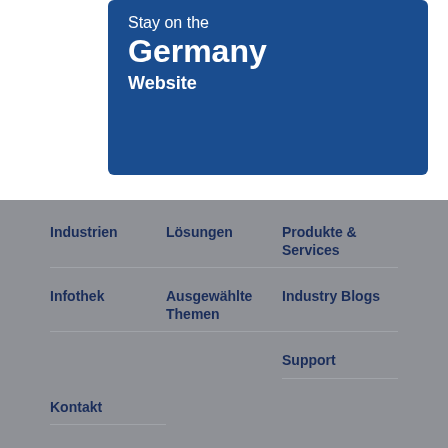Stay on the
Germany
Website
Industrien
Lösungen
Produkte & Services
Infothek
Ausgewählte Themen
Industry Blogs
Support
Kontakt